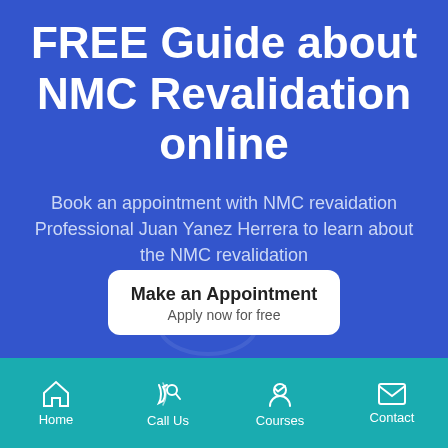FREE Guide about NMC Revalidation online
Book an appointment with NMC revaidation Professional Juan Yanez Herrera to learn about the NMC revalidation
[Figure (other): Call-to-action button: Make an Appointment / Apply now for free]
Home | Call Us | Courses | Contact